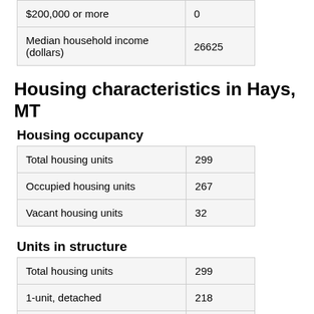| $200,000 or more | 0 |
| Median household income (dollars) | 26625 |
Housing characteristics in Hays, MT
Housing occupancy
| Total housing units | 299 |
| Occupied housing units | 267 |
| Vacant housing units | 32 |
Units in structure
| Total housing units | 299 |
| 1-unit, detached | 218 |
|  |  |